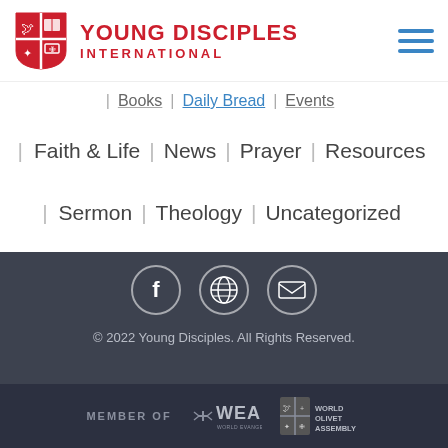[Figure (logo): Young Disciples International logo with red shield emblem and organization name in red text]
| Books | Daily Bread | Events
| Faith & Life | News | Prayer | Resources
| Sermon | Theology | Uncategorized
[Figure (illustration): Three circular social media icons: Facebook (f), Globe/website, and Email envelope, on dark background]
© 2022 Young Disciples. All Rights Reserved.
MEMBER OF  WEA (World Evangelical Alliance)  World Olivet Assembly